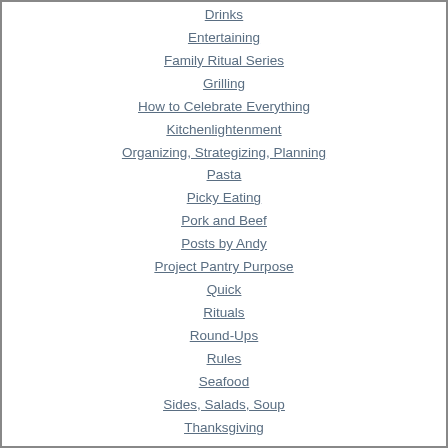Drinks
Entertaining
Family Ritual Series
Grilling
How to Celebrate Everything
Kitchenlightenment
Organizing, Strategizing, Planning
Pasta
Picky Eating
Pork and Beef
Posts by Andy
Project Pantry Purpose
Quick
Rituals
Round-Ups
Rules
Seafood
Sides, Salads, Soup
Thanksgiving